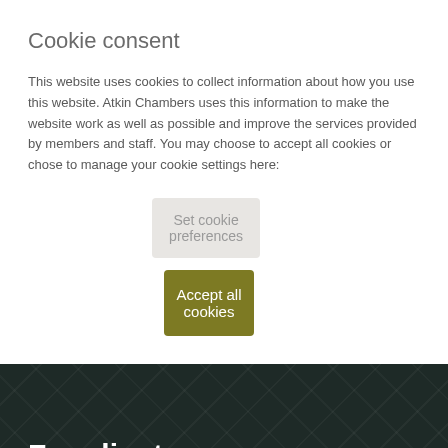Cookie consent
This website uses cookies to collect information about how you use this website. Atkin Chambers uses this information to make the website work as well as possible and improve the services provided by members and staff. You may choose to accept all cookies or chose to manage your cookie settings here:
Set cookie preferences
Accept all cookies
For clients
Services